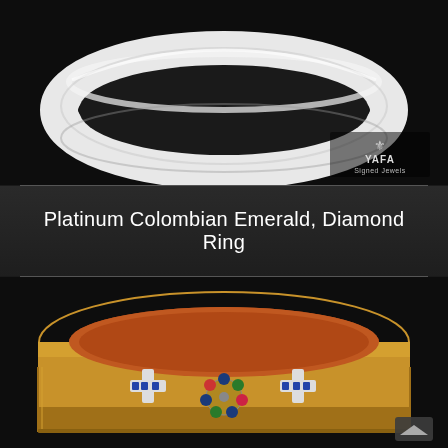[Figure (photo): Close-up photo of a platinum ring (Colombian Emerald Diamond Ring) displayed on a black background, with the YAFA Signed Jewels logo in the bottom-right corner of the image.]
Platinum Colombian Emerald, Diamond Ring
[Figure (photo): Photo of a wide gold bangle bracelet with decorative gemstone motifs including flowers and crosses set with colored stones (sapphires, emeralds, rubies) and diamonds, displayed on a dark background.]